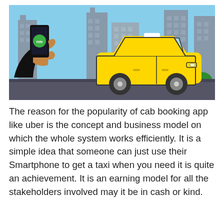[Figure (illustration): Illustration of a person holding a smartphone with a cab-booking app (green button visible), pointing at a yellow taxi cab. City skyline with grey buildings in the background, green bushes on the right, dark road at the bottom.]
The reason for the popularity of cab booking app like uber is the concept and business model on which the whole system works efficiently. It is a simple idea that someone can just use their Smartphone to get a taxi when you need it is quite an achievement. It is an earning model for all the stakeholders involved may it be in cash or kind.